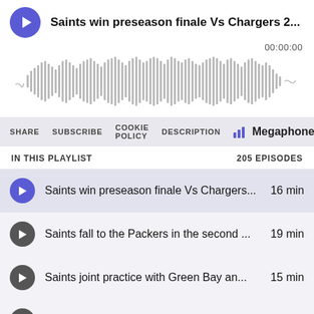Saints win preseason finale Vs Chargers 2...
00:00:00
[Figure (other): Audio waveform visualization showing sound amplitude bars in gray]
SHARE  SUBSCRIBE  COOKIE POLICY  DESCRIPTION  Megaphone
IN THIS PLAYLIST  205 EPISODES
Saints win preseason finale Vs Chargers... 16 min
Saints fall to the Packers in the second ... 19 min
Saints joint practice with Green Bay an... 15 min
Breakdown of the Saints first preseason... 19 min
Players and positions to watch in the Sa... 17 min